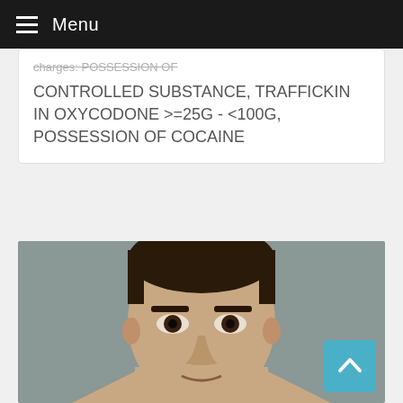Menu
charges: POSSESSION OF CONTROLLED SUBSTANCE, TRAFFICKIN IN OXYCODONE >=25G - <100G, POSSESSION OF COCAINE
[Figure (photo): Mugshot photo of a young male with short dark hair, close-up facial photograph against a gray background]